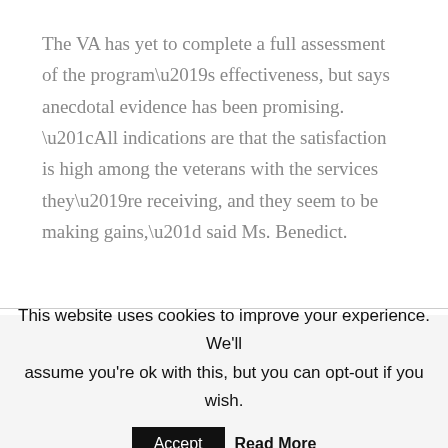The VA has yet to complete a full assessment of the program's effectiveness, but says anecdotal evidence has been promising. “All indications are that the satisfaction is high among the veterans with the services they’re receiving, and they seem to be making gains,” said Ms. Benedict.
This website uses cookies to improve your experience. We'll assume you're ok with this, but you can opt-out if you wish.